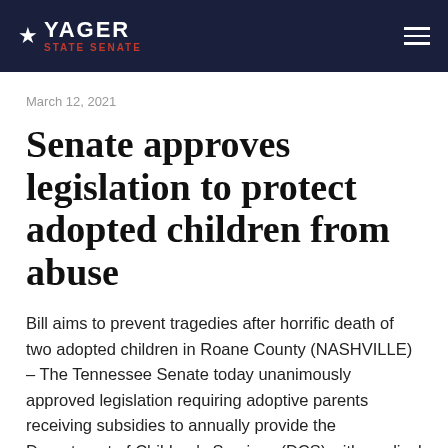★ YAGER STATE SENATE
March 12, 2021
Senate approves legislation to protect adopted children from abuse
Bill aims to prevent tragedies after horrific death of two adopted children in Roane County (NASHVILLE) – The Tennessee Senate today unanimously approved legislation requiring adoptive parents receiving subsidies to annually provide the Department of Children's Services (DCS) with medical or school enrollment records to ascertain a health check.  State senators cast their votes in favor of the